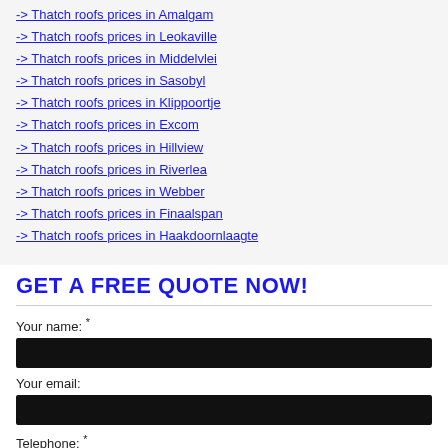-> Thatch roofs prices in Amalgam
-> Thatch roofs prices in Leokaville
-> Thatch roofs prices in Middelvlei
-> Thatch roofs prices in Sasobyl
-> Thatch roofs prices in Klippoortje
-> Thatch roofs prices in Excom
-> Thatch roofs prices in Hillview
-> Thatch roofs prices in Riverlea
-> Thatch roofs prices in Webber
-> Thatch roofs prices in Finaalspan
-> Thatch roofs prices in Haakdoornlaagte
GET A FREE QUOTE NOW!
Your name: *
Your email:
Telephone: *